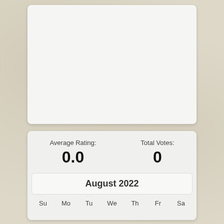[Figure (other): Empty white/light gray card area at the top of the page]
Average Rating: 0.0
Total Votes: 0
August 2022
Su  Mo  Tu  We  Th  Fr  Sa